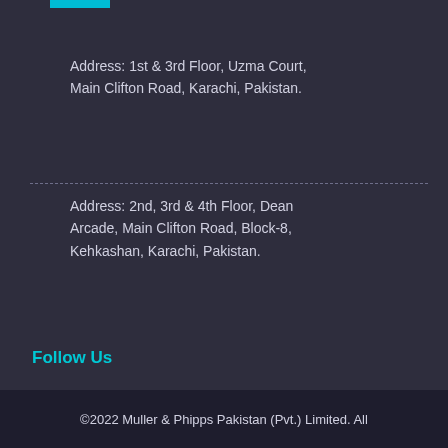Address: 1st & 3rd Floor, Uzma Court, Main Clifton Road, Karachi, Pakistan.
Address: 2nd, 3rd & 4th Floor, Dean Arcade, Main Clifton Road, Block-8, Kehkashan, Karachi, Pakistan.
Follow Us
[Figure (infographic): Social media icons: Facebook, Twitter, Instagram]
©2022 Muller & Phipps Pakistan (Pvt.) Limited. All